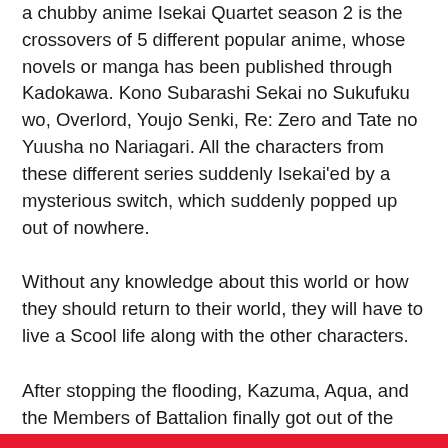a chubby anime Isekai Quartet season 2 is the crossovers of 5 different popular anime, whose novels or manga has been published through Kadokawa. Kono Subarashi Sekai no Sukufuku wo, Overlord, Youjo Senki, Re: Zero and Tate no Yuusha no Nariagari. All the characters from these different series suddenly Isekai'ed by a mysterious switch, which suddenly popped up out of nowhere.
Without any knowledge about this world or how they should return to their world, they will have to live a Scool life along with the other characters.
After stopping the flooding, Kazuma, Aqua, and the Members of Battalion finally got out of the detention. Now that they have joined the class, our heroes have to take care of the new problem, “Test.” But the one that most concerns about the Test are The Great Supreme One of Nazarick “Ainz Ooal Gown.” The fear of failing the Test